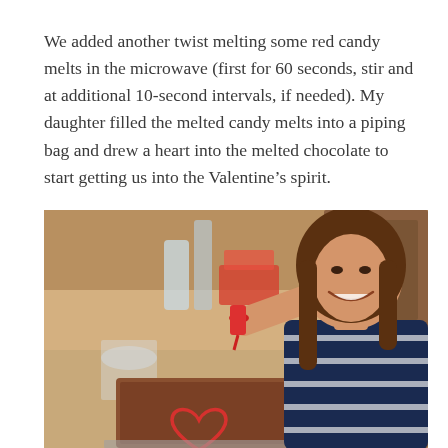We added another twist melting some red candy melts in the microwave (first for 60 seconds, stir and at additional 10-second intervals, if needed). My daughter filled the melted candy melts into a piping bag and drew a heart into the melted chocolate to start getting us into the Valentine's spirit.
[Figure (photo): A smiling young girl with long brown hair, wearing a navy striped shirt, using a red piping bag to draw a heart shape on top of melted chocolate in a rectangular baking pan. Kitchen background with bottles and utensils visible.]